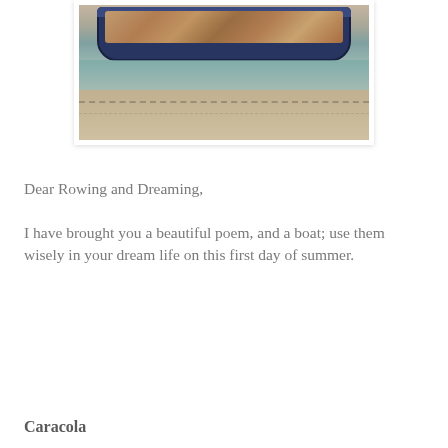[Figure (photo): A small wooden boat filled with items (shells or stones), resting on a sandy beach near water. The boat has a blue/dark painted exterior. The background shows a sandy/textured surface with stitching or line patterns.]
Dear Rowing and Dreaming,
I have brought you a beautiful poem, and a boat; use them wisely in your dream life on this first day of summer.
Caracola